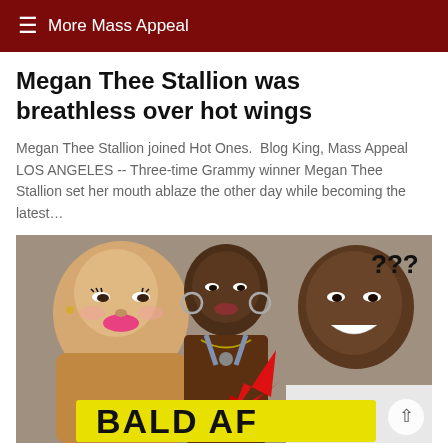≡ More Mass Appeal
Megan Thee Stallion was breathless over hot wings
Megan Thee Stallion joined Hot Ones.  Blog King, Mass Appeal LOS ANGELES -- Three-time Grammy winner Megan Thee Stallion set her mouth ablaze the other day while becoming the latest…
[Figure (photo): Collage photo showing bald-headed celebrities with large yellow text reading 'BALD AF' and red arrow, accompanied by '???' text]
HIP HOP AND R&B · DEC 25, 2021